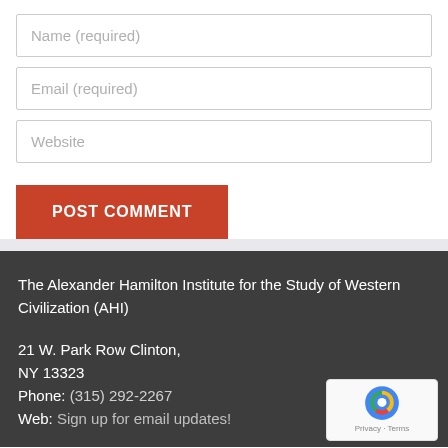Name (required)
Email (required)
Website
POST COMMENT
The Alexander Hamilton Institute for the Study of Western Civilization (AHI)
21 W. Park Row Clinton, NY 13323
Phone: (315) 292-2267
Web: Sign up for email updates!